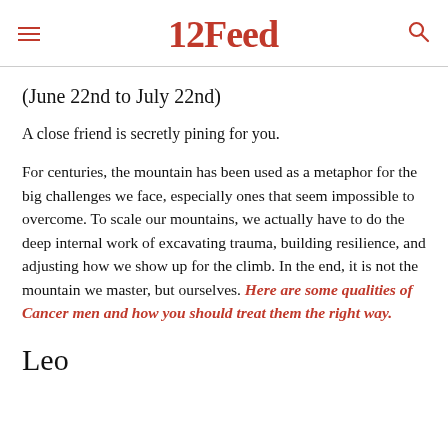12Feed
(June 22nd to July 22nd)
A close friend is secretly pining for you.
For centuries, the mountain has been used as a metaphor for the big challenges we face, especially ones that seem impossible to overcome. To scale our mountains, we actually have to do the deep internal work of excavating trauma, building resilience, and adjusting how we show up for the climb. In the end, it is not the mountain we master, but ourselves. Here are some qualities of Cancer men and how you should treat them the right way.
Leo